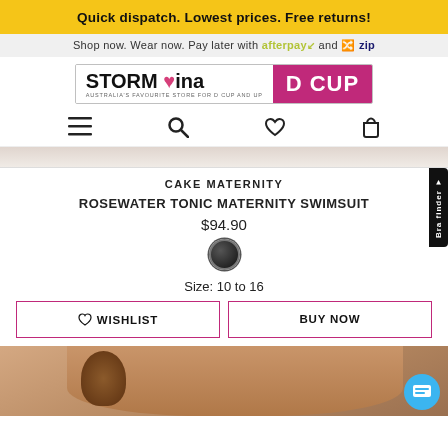Quick dispatch. Lowest prices. Free returns!
Shop now. Wear now. Pay later with afterpay and zip
[Figure (logo): Storm in a D Cup logo - brand logo with magenta D CUP text]
[Figure (infographic): Navigation icons: hamburger menu, search, heart/wishlist, shopping bag]
CAKE MATERNITY
ROSEWATER TONIC MATERNITY SWIMSUIT
$94.90
Size: 10 to 16
[Figure (other): WISHLIST and BUY NOW buttons in magenta border]
[Figure (photo): Bottom portion of model wearing black swimsuit]